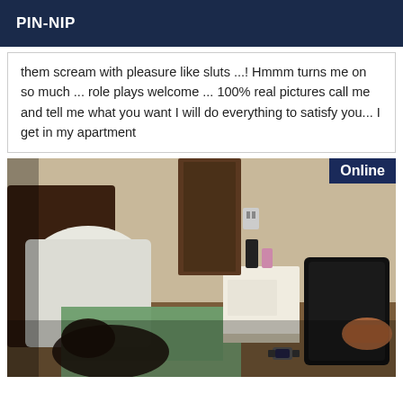PIN-NIP
them scream with pleasure like sluts ...! Hmmm turns me on so much ... role plays welcome ... 100% real pictures call me and tell me what you want I will do everything to satisfy you... I get in my apartment
[Figure (photo): A hotel/apartment room scene showing a bed with white pillow and green/teal fabric, a nightstand with items on it, and a dark tablet/device visible on the right side. A person is partially visible lying on the bed. An 'Online' badge appears in the top-right corner of the image.]